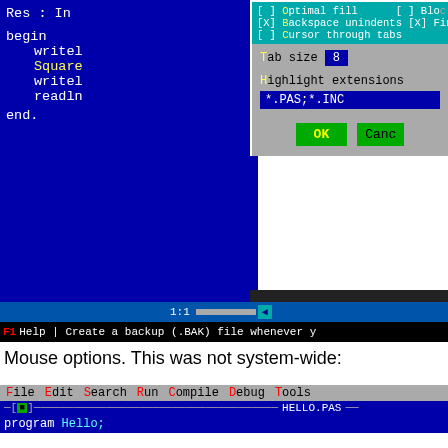[Figure (screenshot): Turbo Pascal IDE editor settings dialog showing options: Optimal fill, Backspace unindents, Cursor through tabs checkboxes (teal area); Tab size 8 input; Highlight extensions *.PAS;*.INC input field; OK and Cancel buttons. Blue background with Pascal code (begin/write/readln/end) visible on left.]
Mouse options. This was not system-wide:
[Figure (screenshot): Turbo Pascal IDE menu bar showing File Edit Search Run Compile Debug Tools, with HELLO.PAS title bar and 'program Hello;' code line.]